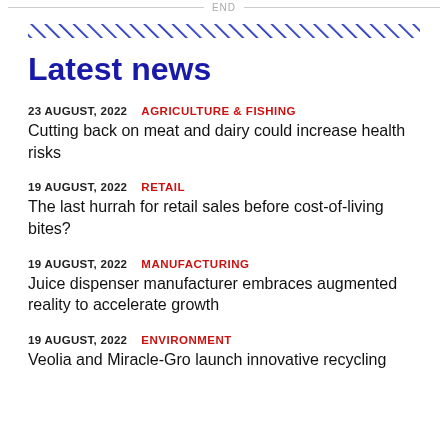END
Latest news
23 AUGUST, 2022  AGRICULTURE & FISHING
Cutting back on meat and dairy could increase health risks
19 AUGUST, 2022  RETAIL
The last hurrah for retail sales before cost-of-living bites?
19 AUGUST, 2022  MANUFACTURING
Juice dispenser manufacturer embraces augmented reality to accelerate growth
19 AUGUST, 2022  ENVIRONMENT
Veolia and Miracle-Gro launch innovative recycling